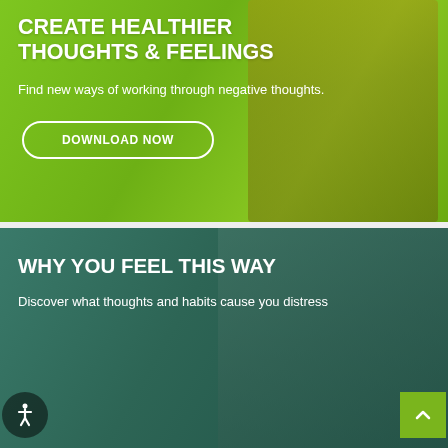[Figure (photo): Green-tinted banner with person in background, containing title and download button]
CREATE HEALTHIER THOUGHTS & FEELINGS
Find new ways of working through negative thoughts.
DOWNLOAD NOW
[Figure (photo): Dark teal-tinted banner with people in background, containing title and subtitle about feelings]
WHY YOU FEEL THIS WAY
Discover what thoughts and habits cause you distress